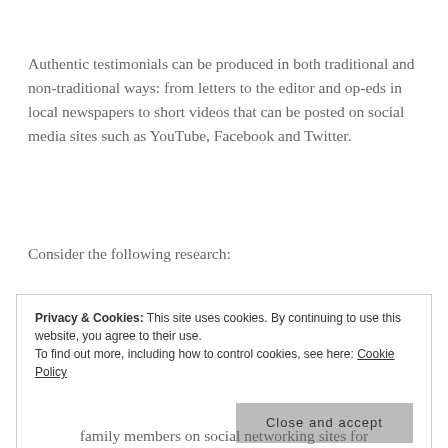Authentic testimonials can be produced in both traditional and non-traditional ways: from letters to the editor and op-eds in local newspapers to short videos that can be posted on social media sites such as YouTube, Facebook and Twitter.
Consider the following research:
Privacy & Cookies: This site uses cookies. By continuing to use this website, you agree to their use. To find out more, including how to control cookies, see here: Cookie Policy
family members on social networking sites for